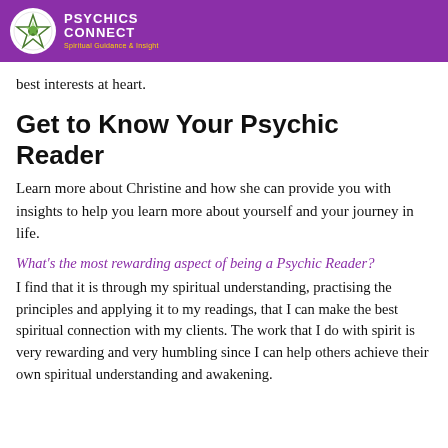Psychics Connect — Spiritual Guidance & Insight
best interests at heart.
Get to Know Your Psychic Reader
Learn more about Christine and how she can provide you with insights to help you learn more about yourself and your journey in life.
What's the most rewarding aspect of being a Psychic Reader?
I find that it is through my spiritual understanding, practising the principles and applying it to my readings, that I can make the best spiritual connection with my clients. The work that I do with spirit is very rewarding and very humbling since I can help others achieve their own spiritual understanding and awakening.